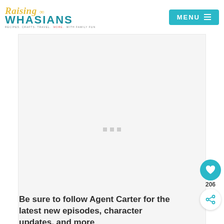Raising Whasians — RECIPES. CRAFTS. TRAVEL. MORE WITH FAMILY FUN | MENU
[Figure (other): Advertisement placeholder box with three gray dots in center, light gray background]
Be sure to follow Agent Carter for the latest new episodes, character updates, and more